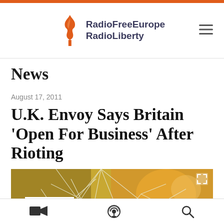RadioFreeEurope RadioLiberty
News
August 17, 2011
U.K. Envoy Says Britain 'Open For Business' After Rioting
[Figure (photo): Broken/cracked glass window with a LiFE sign visible in the lower left, and orange/gold blurry background. An expand icon is in the upper right corner.]
Video | Podcast | Search navigation icons